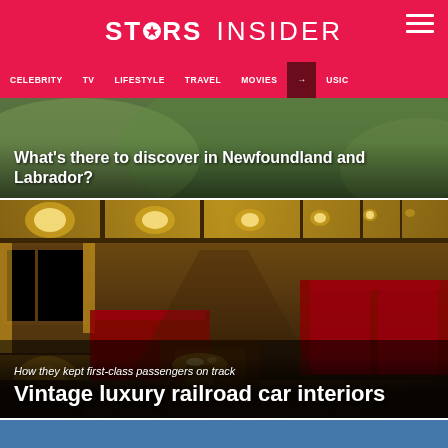STARS INSIDER
CELEBRITY  TV  LIFESTYLE  TRAVEL  MOVIES  MUSIC
What's there to discover in Newfoundland and Labrador?
[Figure (photo): Interior of a vintage luxury railroad car with ornate wood paneling, red velvet seats, and art deco ceiling lights receding into the distance]
How they kept first-class passengers on track
Vintage luxury railroad car interiors
[Figure (photo): Partial view of another article card at the bottom, showing a blue-toned image]